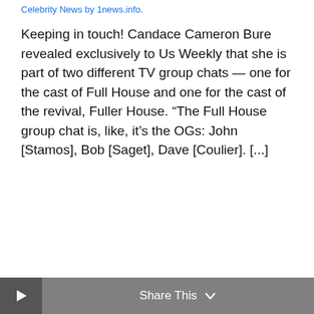Celebrity News by 1news.info.
Keeping in touch! Candace Cameron Bure revealed exclusively to Us Weekly that she is part of two different TV group chats — one for the cast of Full House and one for the cast of the revival, Fuller House. “The Full House group chat is, like, it’s the OGs: John [Stamos], Bob [Saget], Dave [Coulier]. [...]
Share This